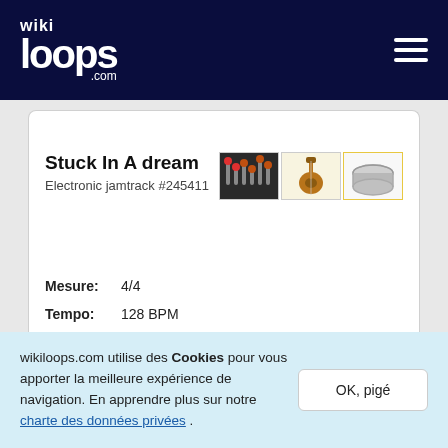wikiloops.com
Stuck In A dream
Electronic jamtrack #245411
Mesure: 4/4
Tempo: 128 BPM
Clé: G minor
1 >
wikiloops.com utilise des Cookies pour vous apporter la meilleure expérience de navigation. En apprendre plus sur notre charte des données privées .